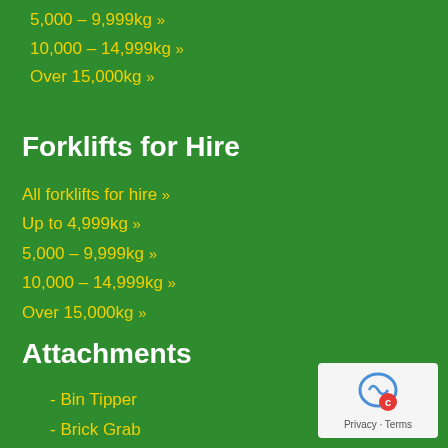5,000 – 9,999kg »
10,000 – 14,999kg »
Over 15,000kg »
Forklifts for Hire
All forklifts for hire »
Up to 4,999kg »
5,000 – 9,999kg »
10,000 – 14,999kg »
Over 15,000kg »
Attachments
- Bin Tipper
- Brick Grab
- Carpet Poles
- Coil Handler